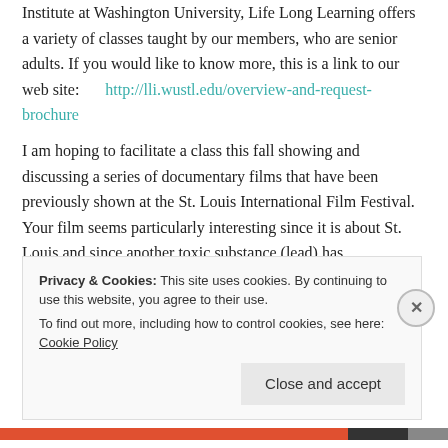Institute at Washington University, Life Long Learning offers a variety of classes taught by our members, who are senior adults. If you would like to know more, this is a link to our web site: http://lli.wustl.edu/overview-and-request-brochure
I am hoping to facilitate a class this fall showing and discussing a series of documentary films that have been previously shown at the St. Louis International Film Festival. Your film seems particularly interesting since it is about St. Louis and since another toxic substance (lead) has
Privacy & Cookies: This site uses cookies. By continuing to use this website, you agree to their use.
To find out more, including how to control cookies, see here: Cookie Policy
[Close and accept]